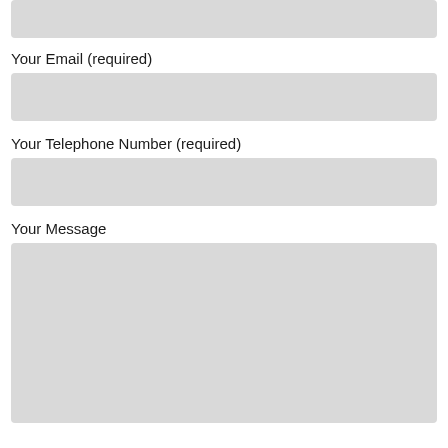[Figure (screenshot): A partially visible gray input field at the top of the page (cropped)]
Your Email (required)
[Figure (screenshot): Gray input field for email]
Your Telephone Number (required)
[Figure (screenshot): Gray input field for telephone number]
Your Message
[Figure (screenshot): Large gray textarea for message input]